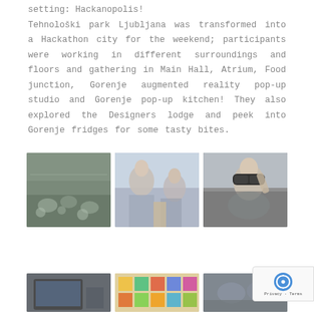Gorenje Group Hackathon had a special location setting: Hackanopolis! Tehnološki park Ljubljana was transformed into a Hackathon city for the weekend; participants were working in different surroundings and floors and gathering in Main Hall, Atrium, Food junction, Gorenje augmented reality pop-up studio and Gorenje pop-up kitchen! They also explored the Designers lodge and peek into Gorenje fridges for some tasty bites.
[Figure (photo): People sitting and working/eating at tables in a large open space during a hackathon event]
[Figure (photo): Two people in conversation, one older man in a blue shirt with a lanyard]
[Figure (photo): A woman wearing augmented reality / mixed reality headset glasses]
[Figure (photo): Person at a computer or laptop (partially visible, bottom row)]
[Figure (photo): Colorful sticky notes or papers on a surface (bottom row)]
[Figure (photo): Another hackathon scene, blurred or partial (bottom row)]